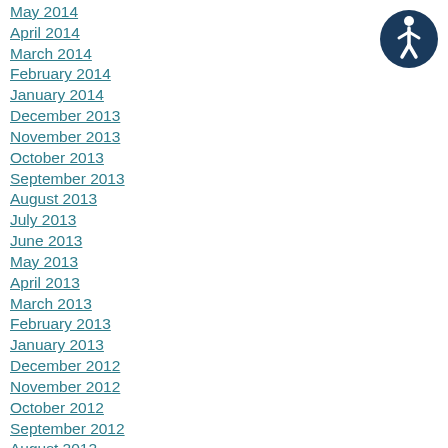May 2014
April 2014
March 2014
February 2014
January 2014
December 2013
November 2013
October 2013
September 2013
August 2013
July 2013
June 2013
May 2013
April 2013
March 2013
February 2013
January 2013
December 2012
November 2012
October 2012
September 2012
August 2012
[Figure (logo): Accessibility icon — circular dark blue badge with white person/wheelchair accessibility symbol]